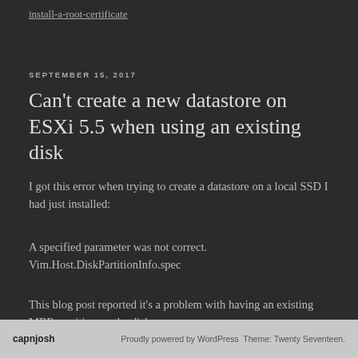install-a-root-certificate
SEPTEMBER 15, 2017
Can't create a new datastore on ESXi 5.5 when using an existing disk
I got this error when trying to create a datastore on a local SSD I had just installed:
A specified parameter was not correct.
Vim.Host.DiskPartitionInfo.spec
This blog post reported it's a problem with having an existing MBR partition on the disk. http://blog.infrageeks.com/blog/2014/1/23/cant-format-a-vmfs-5-volume-on-an-existing-disk.html
capnjosh   Proudly powered by WordPress Theme: Twenty Seventeen.